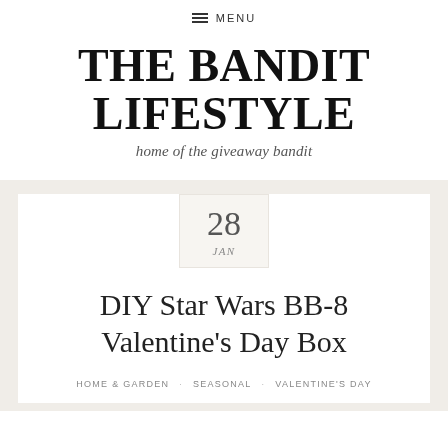≡ MENU
THE BANDIT LIFESTYLE
home of the giveaway bandit
28
JAN
DIY Star Wars BB-8 Valentine's Day Box
HOME & GARDEN   SEASONAL   VALENTINE'S DAY